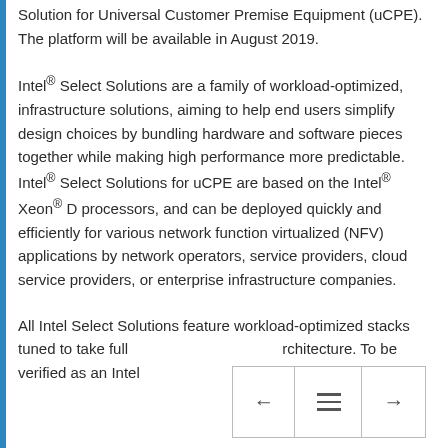Solution for Universal Customer Premise Equipment (uCPE). The platform will be available in August 2019.
Intel® Select Solutions are a family of workload-optimized, infrastructure solutions, aiming to help end users simplify design choices by bundling hardware and software pieces together while making high performance more predictable. Intel® Select Solutions for uCPE are based on the Intel® Xeon® D processors, and can be deployed quickly and efficiently for various network function virtualized (NFV) applications by network operators, service providers, cloud service providers, or enterprise infrastructure companies.
All Intel Select Solutions feature workload-optimized stacks tuned to take full [architecture]. To be verified as an Intel [NK's MECS-